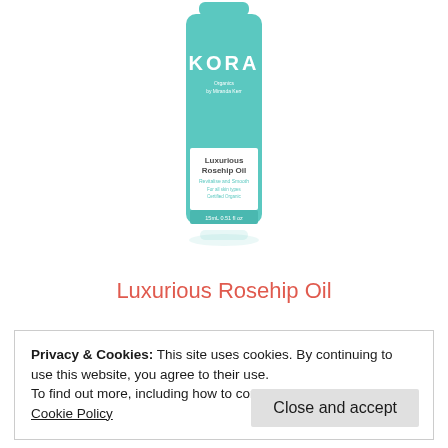[Figure (photo): KORA Organics Luxurious Rosehip Oil product bottle, teal/mint colored cylindrical tube with white label showing product name, on white background]
Luxurious Rosehip Oil
Privacy & Cookies: This site uses cookies. By continuing to use this website, you agree to their use.
To find out more, including how to control cookies, see here: Cookie Policy